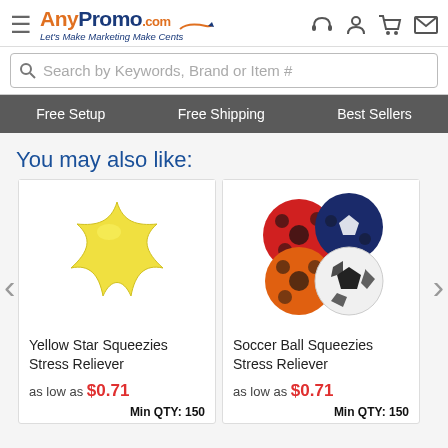[Figure (logo): AnyPromo.com logo with hamburger menu icon and tagline 'Let's Make Marketing Make Cents']
[Figure (screenshot): Search bar with text 'Search by Keywords, Brand or Item #']
Free Setup   Free Shipping   Best Sellers
You may also like:
[Figure (photo): Yellow Star Squeezies Stress Reliever product photo]
Yellow Star Squeezies Stress Reliever
as low as $0.71
Min QTY: 150
[Figure (photo): Soccer Ball Squeezies Stress Reliever product photo showing 4 balls: red, navy, orange, and white/black]
Soccer Ball Squeezies Stress Reliever
as low as $0.71
Min QTY: 150